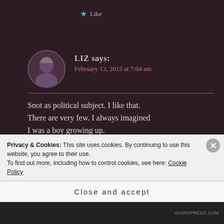★ Like
LIZ says:
February 13, 2015 at 7:04 am
Snot as political subject. I like that. There are very few. I always imagined I was a boy growing up.
★ Like
Privacy & Cookies: This site uses cookies. By continuing to use this website, you agree to their use.
To find out more, including how to control cookies, see here: Cookie Policy
Close and accept